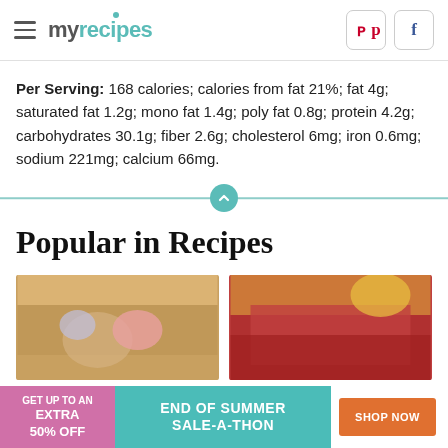myrecipes
Per Serving: 168 calories; calories from fat 21%; fat 4g; saturated fat 1.2g; mono fat 1.4g; poly fat 0.8g; protein 4.2g; carbohydrates 30.1g; fiber 2.6g; cholesterol 6mg; iron 0.6mg; sodium 221mg; calcium 66mg.
Popular in Recipes
[Figure (photo): Two food photos side by side showing recipe images]
[Figure (infographic): Advertisement banner: GET UP TO AN EXTRA 50% OFF | END OF SUMMER SALE-A-THON | SHOP NOW]